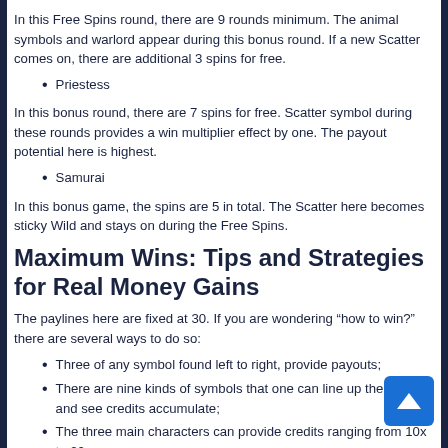In this Free Spins round, there are 9 rounds minimum. The animal symbols and warlord appear during this bonus round. If a new Scatter comes on, there are additional 3 spins for free.
Priestess
In this bonus round, there are 7 spins for free. Scatter symbol during these rounds provides a win multiplier effect by one. The payout potential here is highest.
Samurai
In this bonus game, the spins are 5 in total. The Scatter here becomes sticky Wild and stays on during the Free Spins.
Maximum Wins: Tips and Strategies for Real Money Gains
The paylines here are fixed at 30. If you are wondering “how to win?” there are several ways to do so:
Three of any symbol found left to right, provide payouts;
There are nine kinds of symbols that one can line up the reels and see credits accumulate;
The three main characters can provide credits ranging from 10x to 20x;